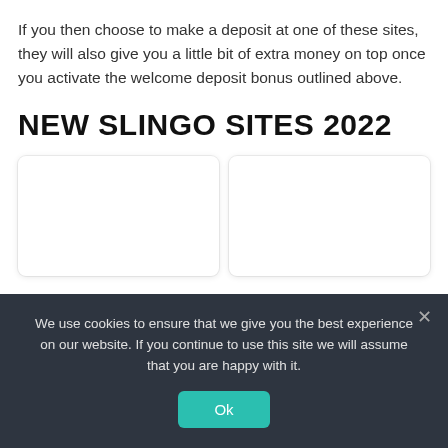If you then choose to make a deposit at one of these sites, they will also give you a little bit of extra money on top once you activate the welcome deposit bonus outlined above.
NEW SLINGO SITES 2022
[Figure (other): Two white card panels side by side, partially visible, representing casino site entries]
We use cookies to ensure that we give you the best experience on our website. If you continue to use this site we will assume that you are happy with it.